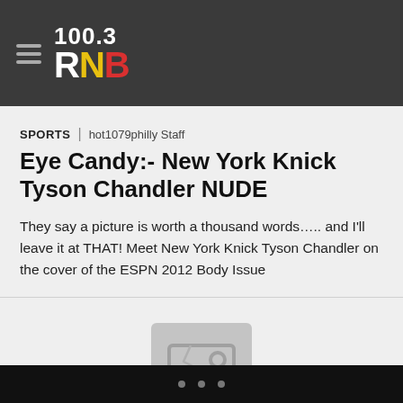100.3 RNB
SPORTS | hot1079philly Staff
Eye Candy:- New York Knick Tyson Chandler NUDE
They say a picture is worth a thousand words….. and I'll leave it at THAT! Meet New York Knick Tyson Chandler on the cover of the ESPN 2012 Body Issue
[Figure (other): No image placeholder with broken image icon and 'NO IMAGE' text]
• • •